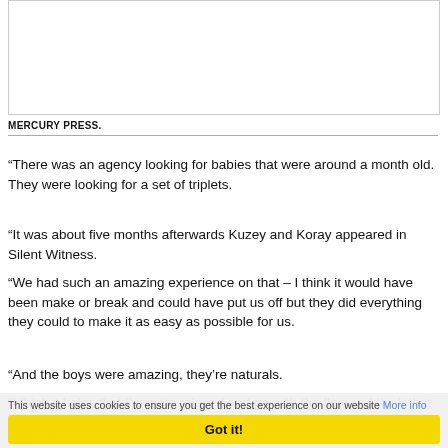[Figure (photo): Placeholder image area at top of page]
MERCURY PRESS.
“There was an agency looking for babies that were around a month old. They were looking for a set of triplets.
“It was about five months afterwards Kuzey and Koray appeared in Silent Witness.
“We had such an amazing experience on that – I think it would have been make or break and could have put us off but they did everything they could to make it as easy as possible for us.
“And the boys were amazing, they’re naturals.
“I think it helps that I’m quite relaxed and go with the flow so I think that rubs off on the boys.
This website uses cookies to ensure you get the best experience on our website More info
Got it!